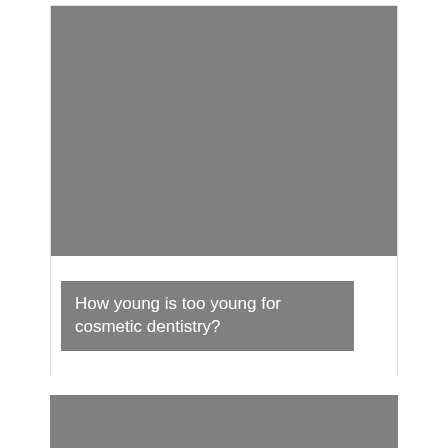[Figure (photo): Gray placeholder image representing a photo related to cosmetic dentistry]
How young is too young for cosmetic dentistry?
[Figure (photo): Gray placeholder image at bottom of page, partial view]